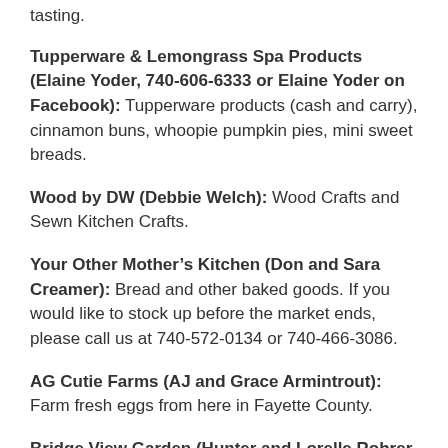tasting.
Tupperware & Lemongrass Spa Products (Elaine Yoder, 740-606-6333 or Elaine Yoder on Facebook): Tupperware products (cash and carry), cinnamon buns, whoopie pumpkin pies, mini sweet breads.
Wood by DW (Debbie Welch): Wood Crafts and Sewn Kitchen Crafts.
Your Other Mother’s Kitchen (Don and Sara Creamer): Bread and other baked goods. If you would like to stock up before the market ends, please call us at 740-572-0134 or 740-466-3086.
AG Cutie Farms (AJ and Grace Armintrout): Farm fresh eggs from here in Fayette County.
Bridge View Garden (Hunter and Lorelle Rohrer, 740-